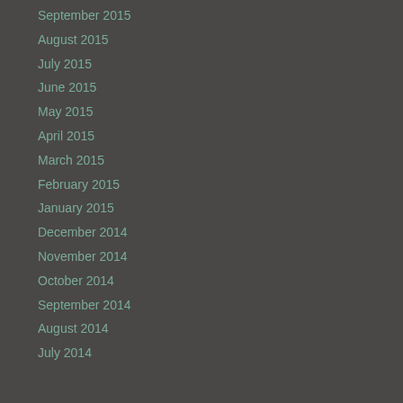September 2015
August 2015
July 2015
June 2015
May 2015
April 2015
March 2015
February 2015
January 2015
December 2014
November 2014
October 2014
September 2014
August 2014
July 2014